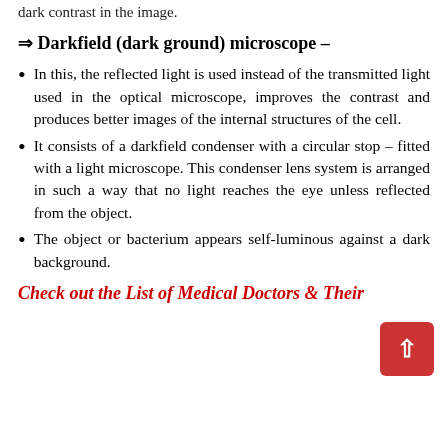dark contrast in the image.
⇒ Darkfield (dark ground) microscope –
In this, the reflected light is used instead of the transmitted light used in the optical microscope, improves the contrast and produces better images of the internal structures of the cell.
It consists of a darkfield condenser with a circular stop – fitted with a light microscope. This condenser lens system is arranged in such a way that no light reaches the eye unless reflected from the object.
The object or bacterium appears self-luminous against a dark background.
Check out the List of Medical Doctors & Their